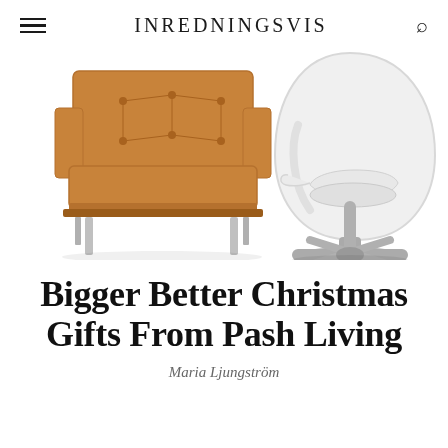INREDNINGSVIS
[Figure (photo): Two chairs side by side: left is a brown/tan tufted leather armchair with chrome legs (mid-century modern style), right is a white egg chair on a swivel chrome base.]
Bigger Better Christmas Gifts From Pash Living
Maria Ljungström